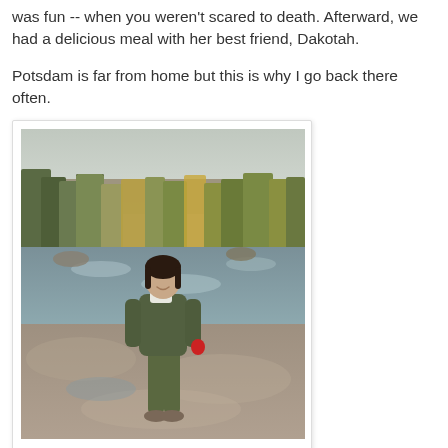was fun -- when you weren't scared to death. Afterward, we had a delicious meal with her best friend, Dakotah.

Potsdam is far from home but this is why I go back there often.
[Figure (photo): A young woman wearing an olive green jacket and pants stands on rocky terrain beside a river. Bare trees and some with autumn yellow foliage are visible in the background. She appears to be smiling and holding a red object in her right hand.]